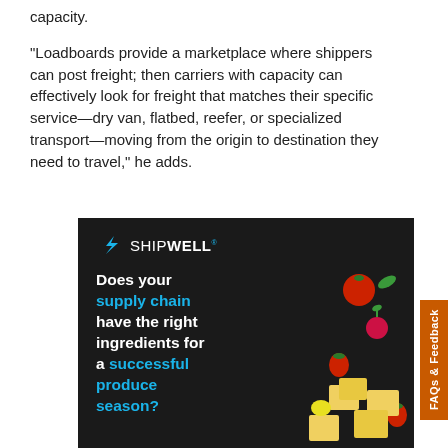capacity.
“Loadboards provide a marketplace where shippers can post freight; then carriers with capacity can effectively look for freight that matches their specific service—dry van, flatbed, reefer, or specialized transport—moving from the origin to destination they need to travel,” he adds.
[Figure (illustration): Shipwell advertisement on dark background showing logo, tagline 'Does your supply chain have the right ingredients for a successful produce season?' with floating produce items (tomatoes, strawberries, radish, lemon, cheese cubes)]